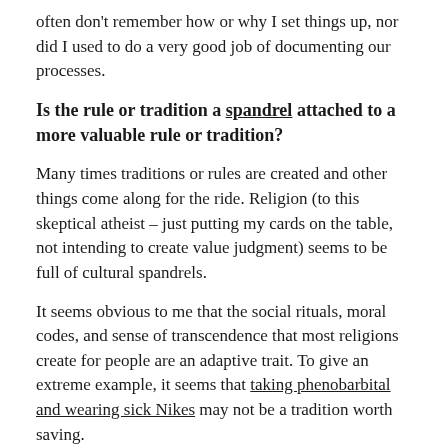often don't remember how or why I set things up, nor did I used to do a very good job of documenting our processes.
Is the rule or tradition a spandrel attached to a more valuable rule or tradition?
Many times traditions or rules are created and other things come along for the ride. Religion (to this skeptical atheist – just putting my cards on the table, not intending to create value judgment) seems to be full of cultural spandrels.
It seems obvious to me that the social rituals, moral codes, and sense of transcendence that most religions create for people are an adaptive trait. To give an extreme example, it seems that taking phenobarbital and wearing sick Nikes may not be a tradition worth saving.
I'm sure there are other questions to weight when deciding whether or not to remove a traditional fence, but these are the ones that come to mind for me in my decision-making processes. Any others that I missed?